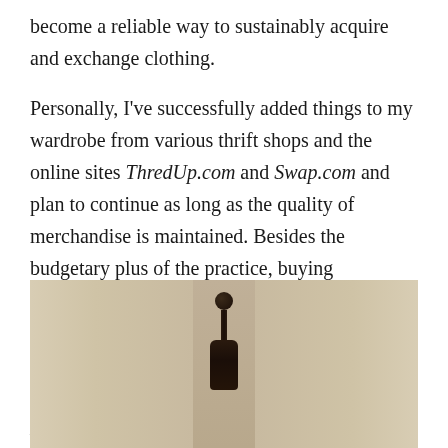become a reliable way to sustainably acquire and exchange clothing.

Personally, I've successfully added things to my wardrobe from various thrift shops and the online sites ThredUp.com and Swap.com and plan to continue as long as the quality of merchandise is maintained. Besides the budgetary plus of the practice, buying secondhand is one of the most constructive ways to extend the life of clothing. Since I've learned more about sustainability, I've consistently bought clothes this way from H&M's Conscious Collection.
[Figure (photo): Photo of a mannequin or dress form on a stand, positioned in front of what appears to be cream/beige paneled doors or a closet. The scene is photographed indoors with warm neutral tones.]